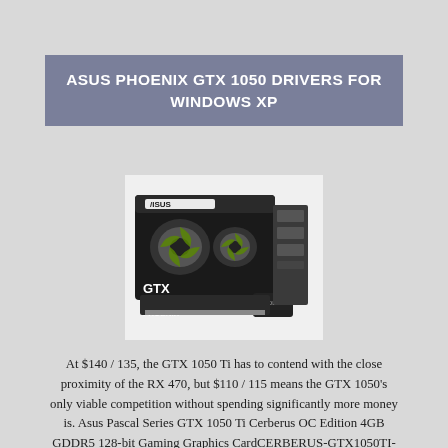ASUS PHOENIX GTX 1050 DRIVERS FOR WINDOWS XP
[Figure (photo): ASUS GTX 1050 Ti Phoenix 4G graphics card product box image]
At $140 / 135, the GTX 1050 Ti has to contend with the close proximity of the RX 470, but $110 / 115 means the GTX 1050's only viable competition without spending significantly more money is. Asus Pascal Series GTX 1050 Ti Cerberus OC Edition 4GB GDDR5 128-bit Gaming Graphics CardCERBERUS-GTX1050TI-O4GASUS Cerberus GeForce GTX 1050 Ti is the high-performance graphics card that's engineered with enhanced reliability and game